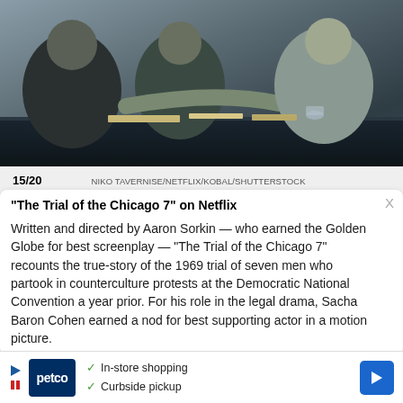[Figure (photo): People seated at a conference/courtroom table, dark tones, viewed from side angle with one person pointing]
15/20    NIKO TAVERNISE/NETFLIX/KOBAL/SHUTTERSTOCK
"The Trial of the Chicago 7" on Netflix
Written and directed by Aaron Sorkin — who earned the Golden Globe for best screenplay — "The Trial of the Chicago 7" recounts the true-story of the 1969 trial of seven men who partook in counterculture protests at the Democratic National Convention a year prior. For his role in the legal drama, Sacha Baron Cohen earned a nod for best supporting actor in a motion picture.
[Figure (logo): Petco advertisement with logo, In-store shopping and Curbside pickup checkmarks, and navigation arrow icon]